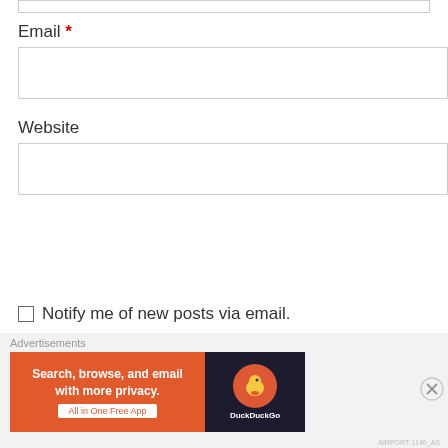Email *
Website
Post Comment
Notify me of new posts via email.
Advertisements
[Figure (screenshot): DuckDuckGo advertisement banner: 'Search, browse, and email with more privacy. All in One Free App' with DuckDuckGo duck logo on dark background]
Advertisements